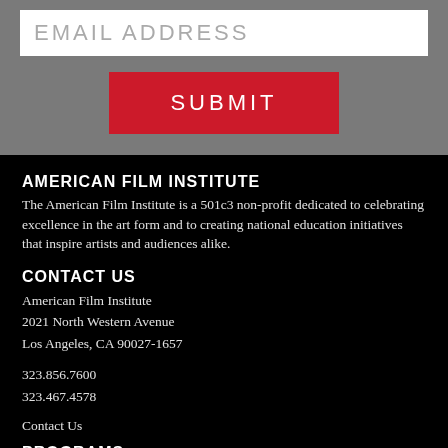EMAIL ADDRESS
SUBMIT
AMERICAN FILM INSTITUTE
The American Film Institute is a 501c3 non-profit dedicated to celebrating excellence in the art form and to creating national education initiatives that inspire artists and audiences alike.
CONTACT US
American Film Institute
2021 North Western Avenue
Los Angeles, CA 90027-1657
323.856.7600
323.467.4578
Contact Us
PROGRAMS